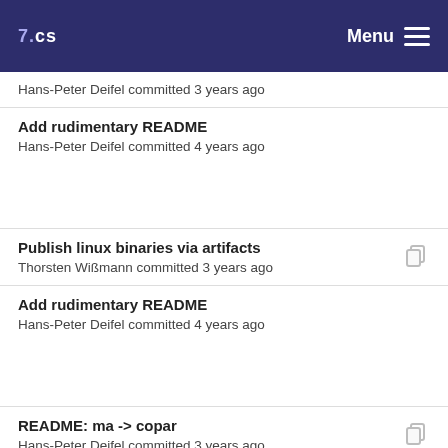7.CS  Menu
Hans-Peter Deifel committed 3 years ago
Add rudimentary README
Hans-Peter Deifel committed 4 years ago
Publish linux binaries via artifacts
Thorsten Wißmann committed 3 years ago
Add rudimentary README
Hans-Peter Deifel committed 4 years ago
README: ma -> copar
Hans-Peter Deifel committed 3 years ago
Add rudimentary README